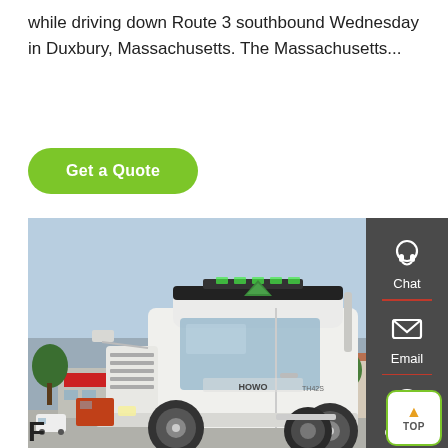while driving down Route 3 southbound Wednesday in Duxbury, Massachusetts. The Massachusetts...
Get a Quote
[Figure (photo): White semi-truck tractor unit (SINOTRUK HOWO T7H) parked in front of a commercial building, front-left 3/4 view, taken outdoors on a concrete lot with trees visible in background.]
Chat
Email
Contact
TOP
F